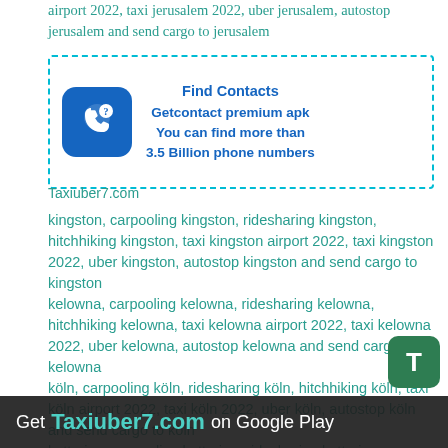airport 2022, taxi jerusalem 2022, uber jerusalem, autostop jerusalem and send cargo to jerusalem
[Figure (infographic): Find Contacts ad box with blue phone icon. Text: Find Contacts / Getcontact premium apk / You can find more than / 3.5 Billion phone numbers]
Taxiuber7.com
kingston, carpooling kingston, ridesharing kingston, hitchhiking kingston, taxi kingston airport 2022, taxi kingston 2022, uber kingston, autostop kingston and send cargo to kingston
kelowna, carpooling kelowna, ridesharing kelowna, hitchhiking kelowna, taxi kelowna airport 2022, taxi kelowna 2022, uber kelowna, autostop kelowna and send cargo to kelowna
köln, carpooling köln, ridesharing köln, hitchhiking köln, taxi köln airport 2022, taxi köln 2022, uber köln, autostop köln and send cargo to köln
kettering, carpooling kettering, ridesharing kettering, hitchhiking kettering, taxi kettering airport 2022, taxi kettering 2022, uber kettering and send cargo to kettering
Get Taxiuber7.com on Google Play